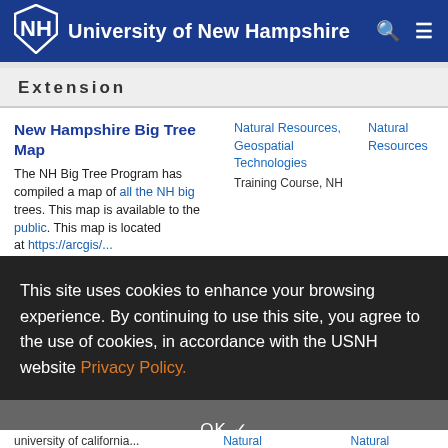University of New Hampshire
Extension
New Hampshire Big Tree Map
The NH Big Tree Program has compiled a map of all the NH Big Trees. This map is available to the public. This map is located at https://arcgis/...
Natural Resources, Geospatial Technologies Training Course, NH
Natural Resources
This site uses cookies to enhance your browsing experience. By continuing to use this site, you agree to the use of cookies, in accordance with the USNH website Privacy Policy.
Natural Resources Forest & Trees
Natural Resources
8. Lumber Wholesalers
New Hampshire landscape features...